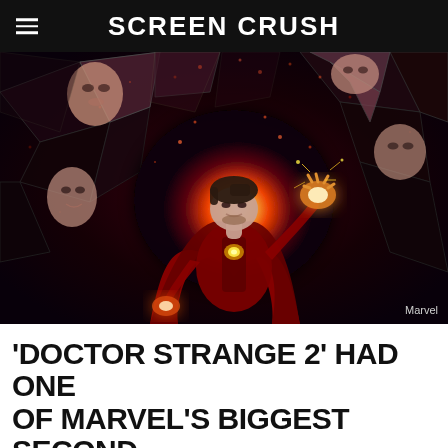Screen Crush
[Figure (photo): Doctor Strange in the Multiverse of Madness promotional image showing a figure in a red cape surrounded by shattered mirror-like fragments with multiple faces visible in the reflections, with glowing red/orange light at center. Marvel credit bottom right.]
'DOCTOR STRANGE 2' HAD ONE OF MARVEL'S BIGGEST SECOND WEEKEND DROPS AT THE BOX